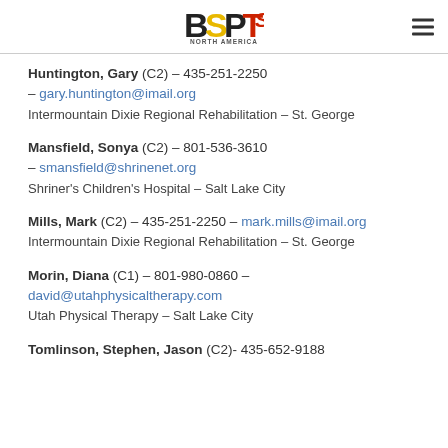BSPTS NORTH AMERICA
Huntington, Gary (C2) – 435-251-2250 – gary.huntington@imail.org
Intermountain Dixie Regional Rehabilitation – St. George
Mansfield, Sonya (C2) – 801-536-3610 – smansfield@shrinenet.org
Shriner's Children's Hospital – Salt Lake City
Mills, Mark (C2) – 435-251-2250 – mark.mills@imail.org
Intermountain Dixie Regional Rehabilitation – St. George
Morin, Diana (C1) – 801-980-0860 – david@utahphysicaltherapy.com
Utah Physical Therapy – Salt Lake City
Tomlinson, Stephen, Jason (C2)- 435-652-9188